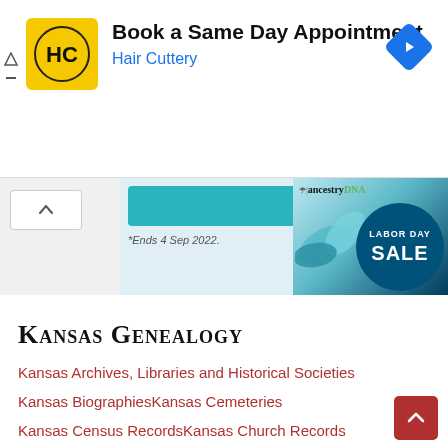[Figure (screenshot): Hair Cuttery advertisement banner: HC logo (yellow background), 'Book a Same Day Appointment' title, 'Hair Cuttery' subtitle in blue, navigation arrow icon on right]
[Figure (screenshot): AncestryDNA Labor Day Sale advertisement with teal button, '*Ends 4 Sep 2022.' text, AncestryDNA logo, leaf graphic, and blue circle with 'LABOR DAY SALE' text]
Kansas Genealogy
Kansas Archives, Libraries and Historical Societies
Kansas BiographiesKansas Cemeteries
Kansas Census RecordsKansas Church Records
Kansas Court RecordsKansas Databases